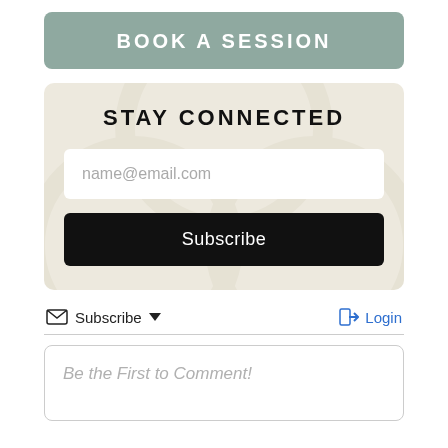BOOK A SESSION
STAY CONNECTED
name@email.com
Subscribe
Subscribe
Login
Be the First to Comment!